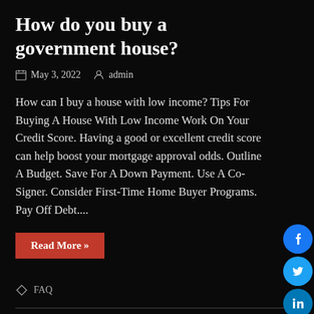How do you buy a government house?
May 3, 2022   admin
How can I buy a house with low income? Tips For Buying A House With Low Income Work On Your Credit Score. Having a good or excellent credit score can help boost your mortgage approval odds. Outline A Budget. Save For A Down Payment. Use A Co-Signer. Consider First-Time Home Buyer Programs. Pay Off Debt....
Read More »
FAQ
How do I add my government email